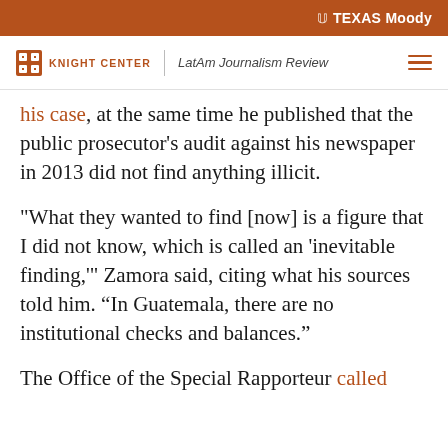TEXAS Moody
KNIGHT CENTER | LatAm Journalism Review
his case, at the same time he published that the public prosecutor's audit against his newspaper in 2013 did not find anything illicit.
"What they wanted to find [now] is a figure that I did not know, which is called an 'inevitable finding,'" Zamora said, citing what his sources told him. “In Guatemala, there are no institutional checks and balances.”
The Office of the Special Rapporteur called